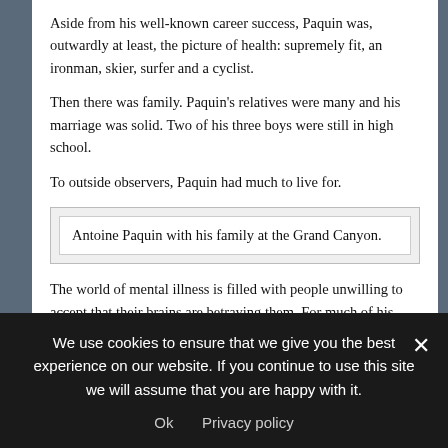Aside from his well-known career success, Paquin was, outwardly at least, the picture of health: supremely fit, an ironman, skier, surfer and a cyclist.
Then there was family. Paquin's relatives were many and his marriage was solid. Two of his three boys were still in high school.
To outside observers, Paquin had much to live for.
Antoine Paquin with his family at the Grand Canyon.
The world of mental illness is filled with people unwilling to accept that their brains are betraying them. For much of his adult life, Paquin tried to fix himself. This was just who he was — different, that's all.
Until last November, he believed his symptoms had nothing to do with
We use cookies to ensure that we give you the best experience on our website. If you continue to use this site we will assume that you are happy with it.
Ok   Privacy policy